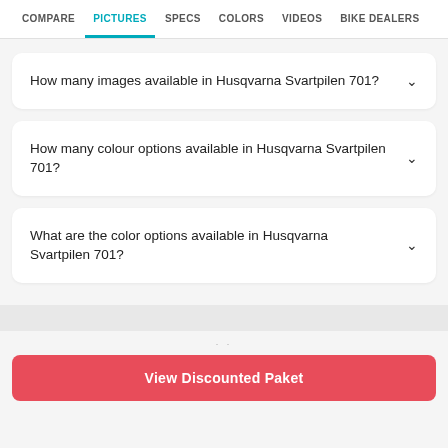COMPARE | PICTURES | SPECS | COLORS | VIDEOS | BIKE DEALERS
How many images available in Husqvarna Svartpilen 701?
How many colour options available in Husqvarna Svartpilen 701?
What are the color options available in Husqvarna Svartpilen 701?
View Discounted Paket